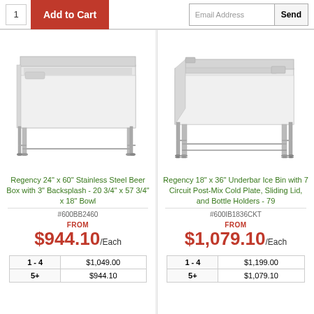1  Add to Cart  |  Email Address  Send
[Figure (photo): Stainless steel beer box with backsplash and legs - Regency 24" x 60"]
Regency 24" x 60" Stainless Steel Beer Box with 3" Backsplash - 20 3/4" x 57 3/4" x 18" Bowl
#600BB2460
FROM $944.10 /Each
| Qty | Price |
| --- | --- |
| 1 - 4 | $1,049.00 |
| 5+ | $944.10 |
[Figure (photo): Regency 18" x 36" Underbar Ice Bin with 7 Circuit Post-Mix Cold Plate, Sliding Lid, and Bottle Holders]
Regency 18" x 36" Underbar Ice Bin with 7 Circuit Post-Mix Cold Plate, Sliding Lid, and Bottle Holders - 79
#600IB1836CKT
FROM $1,079.10 /Each
| Qty | Price |
| --- | --- |
| 1 - 4 | $1,199.00 |
| 5+ | $1,079.10 |